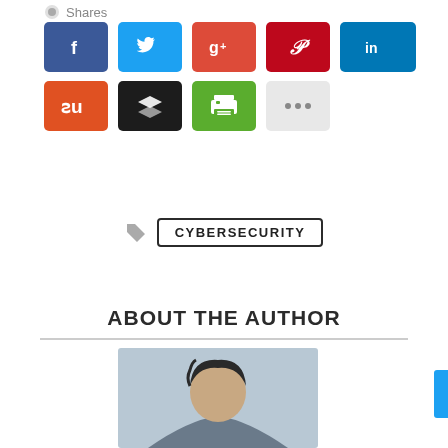Shares
[Figure (infographic): Social media share buttons: Facebook (blue), Twitter (light blue), Google+ (red-orange), Pinterest (dark red), LinkedIn (blue), StumbleUpon (orange-red), Buffer (black), Print (green), More (grey with ellipsis)]
CYBERSECURITY
ABOUT THE AUTHOR
[Figure (photo): Portrait photo of a young man with dark hair, partial view]